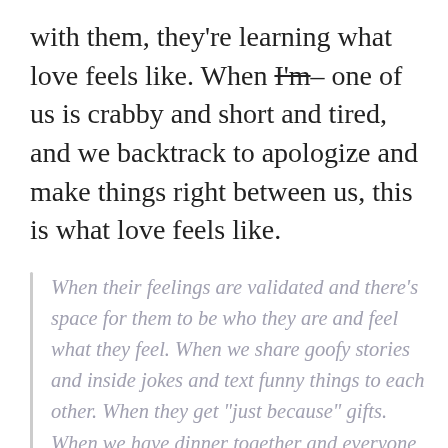with them, they're learning what love feels like. When I'm– one of us is crabby and short and tired, and we backtrack to apologize and make things right between us, this is what love feels like.
When their feelings are validated and there's space for them to be who they are and feel what they feel. When we share goofy stories and inside jokes and text funny things to each other. When they get "just because" gifts. When we have dinner together and everyone shares the "'Happy and Crappy'' from their day.  When they catch my eye during a school concert or sporting event and know I am cheering them on. When we sit in my bed together and quietly read, side by side. When everything goes right or wrong or both, and we are with each other through it all, they're